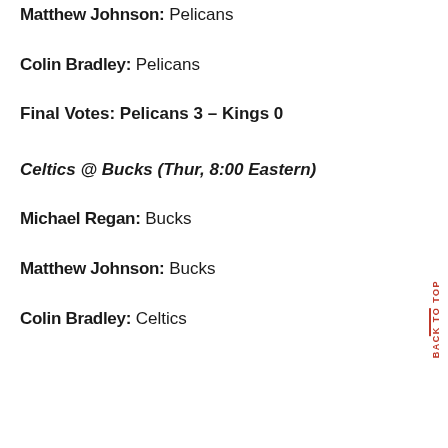Matthew Johnson: Pelicans
Colin Bradley: Pelicans
Final Votes: Pelicans 3 – Kings 0
Celtics @ Bucks (Thur, 8:00 Eastern)
Michael Regan: Bucks
Matthew Johnson: Bucks
Colin Bradley: Celtics